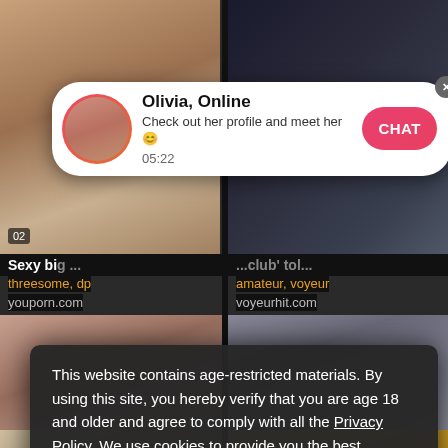[Figure (screenshot): Background showing adult video thumbnails on a website]
[Figure (infographic): Notification popup: Olivia, Online - Check out her profile and meet her, 05:22, with CHAT button]
Sexy big ... club' tol...
threesome, dp
youporn.com
amateur, voyeur
voyeurhit.com
This website contains age-restricted materials. By using this site, you hereby verify that you are age 18 and older and agree to comply with all the Privacy Policy. We use cookies to provide you the best possible experience on our website and to monitor website traffic. Cookies Policy.
Got it!